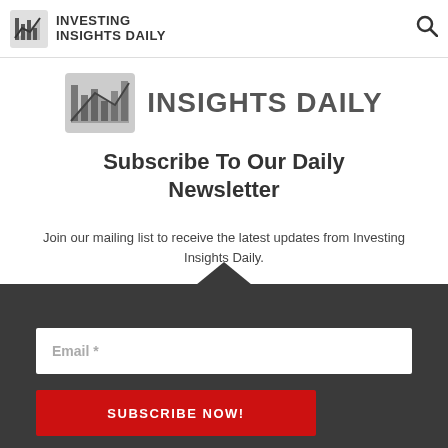INVESTING INSIGHTS DAILY
[Figure (logo): Investing Insights Daily logo with chart icon and text INSIGHTS DAILY]
Subscribe To Our Daily Newsletter
Join our mailing list to receive the latest updates from Investing Insights Daily.
[Figure (other): Dark subscription form box with email input field and SUBSCRIBE NOW! red button]